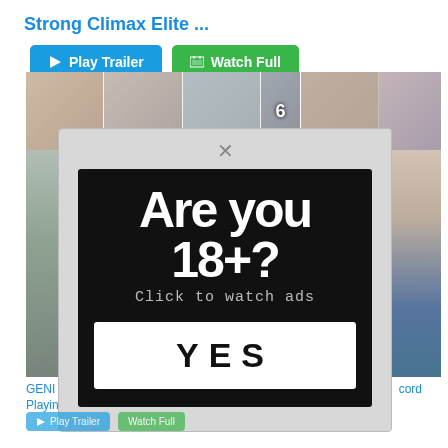Strong Climax Elite ...
[Figure (screenshot): Play Trailer and Watch Full buttons (blue and green)]
[Figure (photo): Blurred video thumbnail strip showing multiple video preview images]
[Figure (screenshot): Age verification modal popup with black background showing 'Are you 18+? Click to watch ads' with a YES button]
GENI... Playing... cord
[Figure (screenshot): Bottom Play Trailer and Watch Full buttons partially visible]